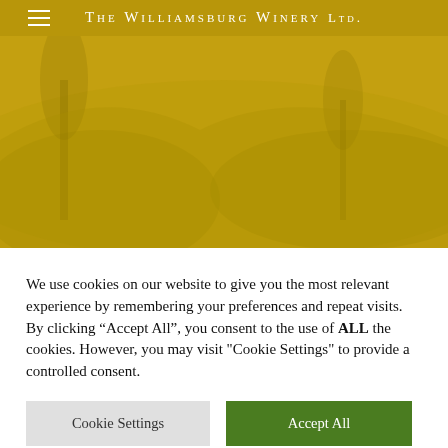The Williamsburg Winery Ltd.
[Figure (photo): Golden/yellow toned hero image background with vineyard or landscape scene, heavily overlaid with golden-yellow color wash. Navigation header with hamburger menu icon on left and winery name centered.]
We use cookies on our website to give you the most relevant experience by remembering your preferences and repeat visits. By clicking “Accept All”, you consent to the use of ALL the cookies. However, you may visit "Cookie Settings" to provide a controlled consent.
Cookie Settings
Accept All